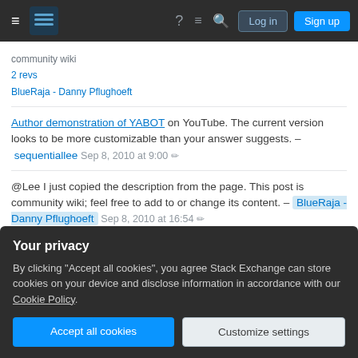Stack Exchange navigation bar with Log in and Sign up buttons
community wiki
2 revs
BlueRaja - Danny Pflughoeft
Author demonstration of YABOT on YouTube. The current version looks to be more customizable than your answer suggests. – sequentiallee Sep 8, 2010 at 9:00
@Lee I just copied the description from the page. This post is community wiki; feel free to add to or change its content. – BlueRaja - Danny Pflughoeft Sep 8, 2010 at 16:54
Your privacy
By clicking "Accept all cookies", you agree Stack Exchange can store cookies on your device and disclose information in accordance with our Cookie Policy.
Accept all cookies
Customize settings